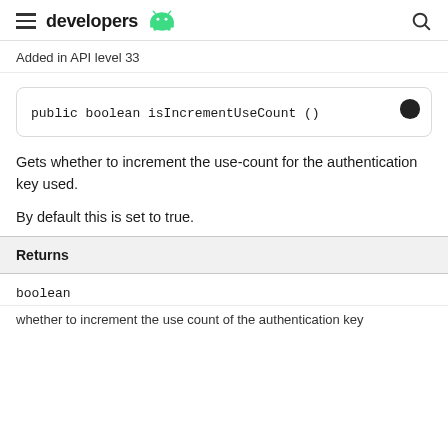developers
Added in API level 33
public boolean isIncrementUseCount ()
Gets whether to increment the use-count for the authentication key used.
By default this is set to true.
| Returns |
| --- |
| boolean |
| whether to increment the use count of the authentication key |